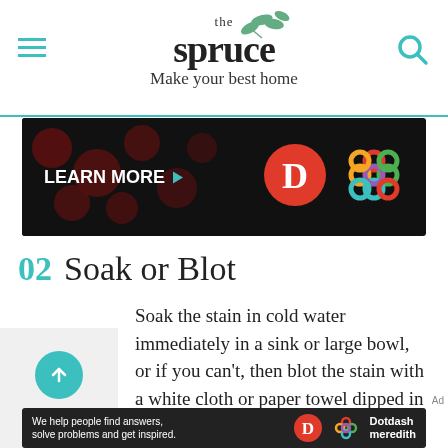the spruce – Make your best home
[Figure (screenshot): Advertisement banner with dark background showing 'LEARN MORE' text with teal arrow, red circle with D logo, and colorful knot logo on right]
02 Soak or Blot
Soak the stain in cold water immediately in a sink or large bowl, or if you can't, then blot the stain with a white cloth or paper towel dipped in plain water. While soaking the egg stain in cold water, use a soft-bristled brush to lightly scrub to lift out
[Figure (screenshot): Bottom advertisement banner: 'We help people find answers, solve problems and get inspired.' with Dotdash Meredith logo]